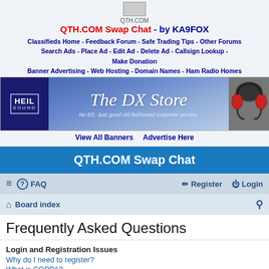QTH.COM
QTH.COM Swap Chat - by KA9FOX
Classifieds Home - Feedback Forum - Safe Trading Tips - Other Forums Search Ads - Place Ad - Edit Ad - Delete Ad - Callsign Lookup - Make Donation Banner Advertising - Web Hosting - Domain Names - Ham Radio Homes
[Figure (photo): The DX Store banner advertisement featuring Heil Sound logo on left, 'The DX Store' text in center with tagline 'No BS. Just good old fashioned customer service.' and headphones image on right]
View All Banners     Advertise Here
QTH.COM Swap Chat
≡  FAQ  Register  Login
Board index  Search
Frequently Asked Questions
Login and Registration Issues
Why do I need to register?
What is COPPA?
Why can't I register?
I registered but cannot login!